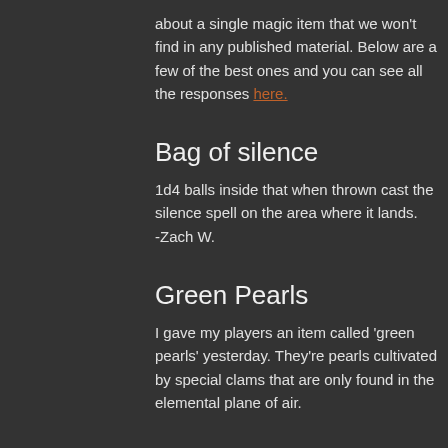about a single magic item that we won't find in any published material. Below are a few of the best ones and you can see all the responses here.
Bag of silence
1d4 balls inside that when thrown cast the silence spell on the area where it lands.
-Zach W.
Green Pearls
I gave my players an item called 'green pearls' yesterday. They're pearls cultivated by special clams that are only found in the elemental plane of air.